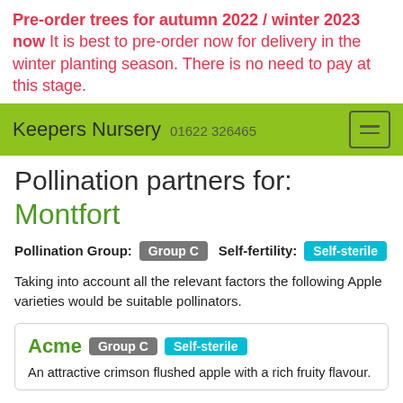Pre-order trees for autumn 2022 / winter 2023 now It is best to pre-order now for delivery in the winter planting season. There is no need to pay at this stage.
Keepers Nursery 01622 326465
Pollination partners for: Montfort
Pollination Group: Group C   Self-fertility: Self-sterile
Taking into account all the relevant factors the following Apple varieties would be suitable pollinators.
Acme  Group C  Self-sterile  An attractive crimson flushed apple with a rich fruity flavour.